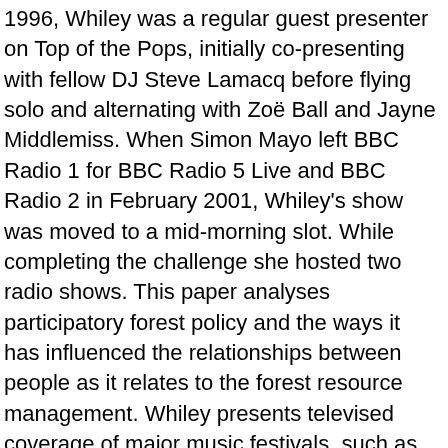1996, Whiley was a regular guest presenter on Top of the Pops, initially co-presenting with fellow DJ Steve Lamacq before flying solo and alternating with Zoë Ball and Jayne Middlemiss. When Simon Mayo left BBC Radio 1 for BBC Radio 5 Live and BBC Radio 2 in February 2001, Whiley's show was moved to a mid-morning slot. While completing the challenge she hosted two radio shows. This paper analyses participatory forest policy and the ways it has influenced the relationships between people as it relates to the forest resource management. Whiley presents televised coverage of major music festivals, such as the Glastonbury Festival. From February 1997, Whiley had a weekday lunchtime show, called The Jo Whiley Show and later The Lunchtime Social. What color are Joey Luft's eyes? Look back at our favorite moments throughout the year, from award shows to up-close shots of celebrities. Frank Joseph Whaley (born July 20, 1963) is an American actor, film director, screenwriter and comedian. Joe Wiley net worth is. August 1912 in Ontario, Kanada) war ein US-amerikanischer Politiker.Zwischen 1889 und 1891 vertrat er den Bundesstaat New York im US-Repräsentantenhaus. Hier können wir Ihnen die Zeitungen, die